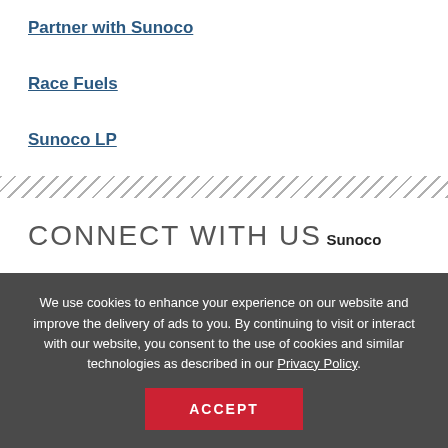Partner with Sunoco
Race Fuels
Sunoco LP
CONNECT WITH US
Sunoco
We use cookies to enhance your experience on our website and improve the delivery of ads to you. By continuing to visit or interact with our website, you consent to the use of cookies and similar technologies as described in our Privacy Policy.
ACCEPT